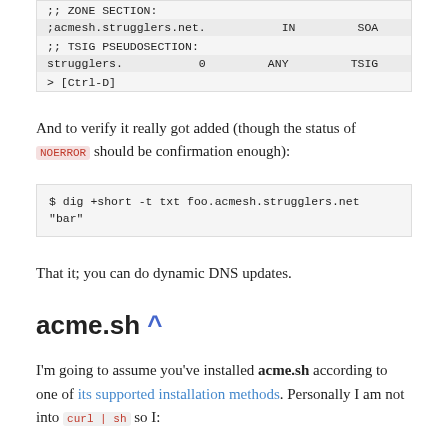;; ZONE SECTION:
;acmesh.strugglers.net.                    IN         SOA

;; TSIG PSEUDOSECTION:
strugglers.                0         ANY        TSIG

> [Ctrl-D]
And to verify it really got added (though the status of NOERROR should be confirmation enough):
$ dig +short -t txt foo.acmesh.strugglers.net
"bar"
That it; you can do dynamic DNS updates.
acme.sh ^
I'm going to assume you've installed acme.sh according to one of its supported installation methods. Personally I am not into curl | sh so I: